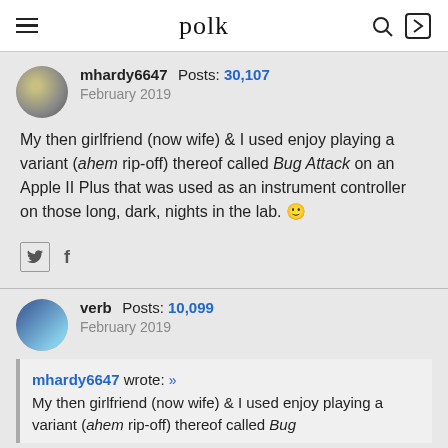polk
mhardy6647  Posts: 30,107  February 2019
My then girlfriend (now wife) & I used enjoy playing a variant (ahem rip-off) thereof called Bug Attack on an Apple II Plus that was used as an instrument controller on those long, dark, nights in the lab. 🙂
verb  Posts: 10,099  February 2019
mhardy6647 wrote: »
My then girlfriend (now wife) & I used enjoy playing a variant (ahem rip-off) thereof called Bug